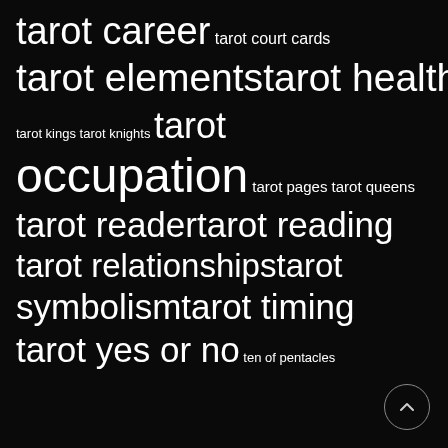tarot career tarot court cards
tarot elements tarot health
tarot kings tarot knights tarot
occupation tarot pages tarot queens
tarot reader tarot reading
tarot relationships tarot
symbolism tarot timing
tarot yes or no ten of pentacles